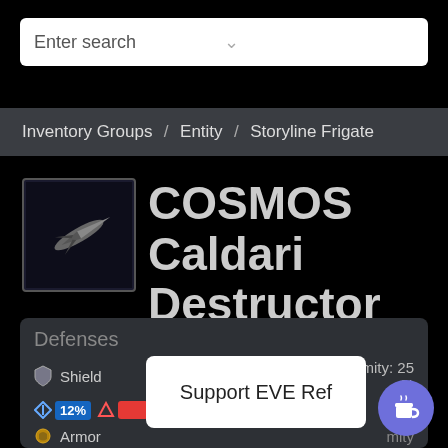Enter search
Inventory Groups / Entity / Storyline Frigate
[Figure (illustration): Spaceship thumbnail for COSMOS Caldari Destructor, dark background with ship silhouette]
COSMOS Caldari Destructor
Defenses
Shield   275 HP   uniformity: 25%
12%  [em icon]  [fire icon]  62%
Armor   mity
60%   25%   25%   10%
Support EVE Ref